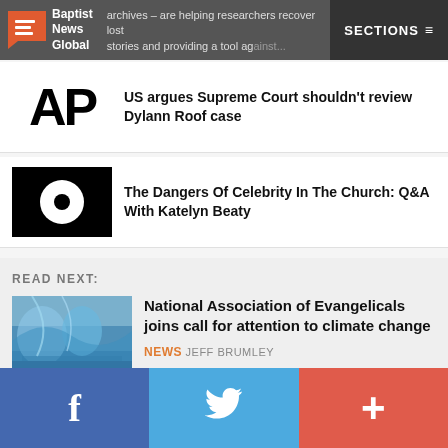Baptist News Global | archives – are helping researchers recover lost stories and providing a tool against... SECTIONS
[Figure (logo): AP logo in black and white]
US argues Supreme Court shouldn't review Dylann Roof case
[Figure (logo): Vox Media logo - black background with white eye/circle icon]
The Dangers Of Celebrity In The Church: Q&A With Katelyn Beaty
READ NEXT:
[Figure (photo): Glacier or icy blue cave photo]
National Association of Evangelicals joins call for attention to climate change
NEWS JEFF BRUMLEY